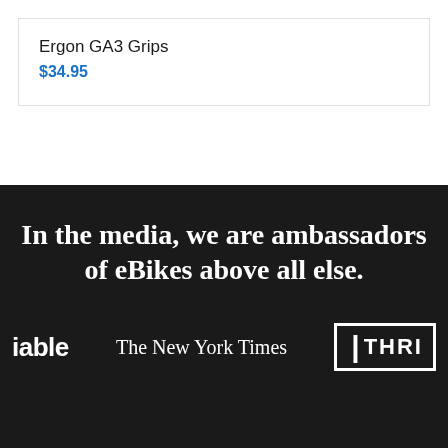Ergon GA3 Grips
$34.95
In the media, we are ambassadors of eBikes above all else.
[Figure (logo): Logos of media outlets: able, The New York Times, THRI]
able | The New York Times | THRI